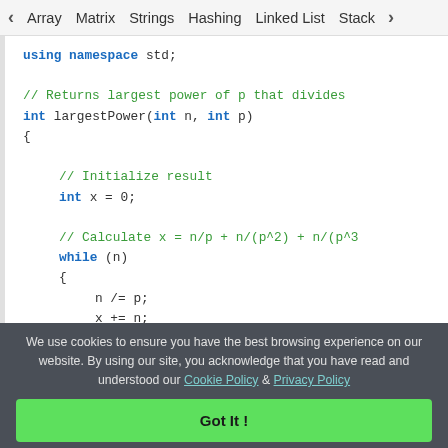< Array   Matrix   Strings   Hashing   Linked List   Stack >
[Figure (screenshot): C++ code snippet showing 'using namespace std;' and a function largestPower(int n, int p) with comments, while loop, and return statement.]
We use cookies to ensure you have the best browsing experience on our website. By using our site, you acknowledge that you have read and understood our Cookie Policy & Privacy Policy
Got It !